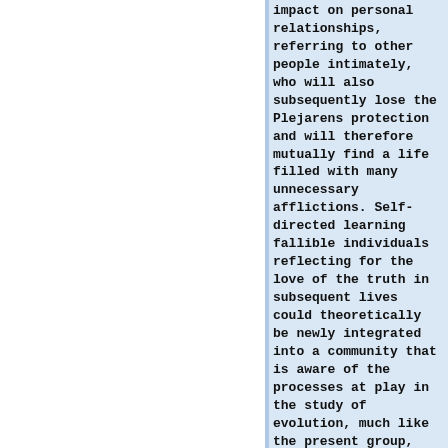impact on personal relationships, referring to other people intimately, who will also subsequently lose the Plejarens protection and will therefore mutually find a life filled with many unnecessary afflictions. Self-directed learning fallible individuals reflecting for the love of the truth in subsequent lives could theoretically be newly integrated into a community that is aware of the processes at play in the study of evolution, much like the present group, through which a few both thinking